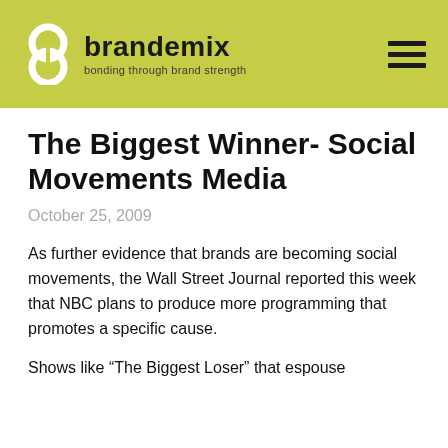[Figure (logo): Brandemix logo with stylized 'b' icon and tagline 'bonding through brand strength' on olive/yellow-green header bar]
The Biggest Winner- Social Movements Media
October 25, 2009
As further evidence that brands are becoming social movements, the Wall Street Journal reported this week that NBC plans to produce more programming that promotes a specific cause.
Shows like “The Biggest Loser” that espouse